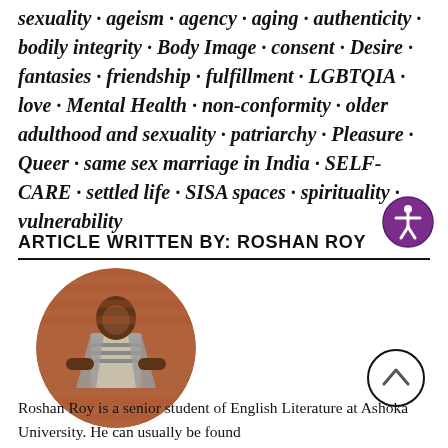sexuality · ageism · agency · aging · authenticity · bodily integrity · Body Image · consent · Desire · fantasies · friendship · fulfillment · LGBTQIA · love · Mental Health · non-conformity · older adulthood and sexuality · patriarchy · Pleasure · Queer · same sex marriage in India · SELF-CARE · settled life · SISA spaces · spirituality · vulnerability
[Figure (logo): Purple circle with white accessibility icon (person figure with arms outstretched)]
ARTICLE WRITTEN BY: ROSHAN ROY
[Figure (photo): Circular cropped photo of Roshan Roy, a young man standing in front of a brick wall, wearing a grey blazer and striped shirt]
[Figure (other): Scroll to top button: circle with upward chevron arrow]
Roshan Roy is a senior student of English Literature at Ashoka University. He can usually be found